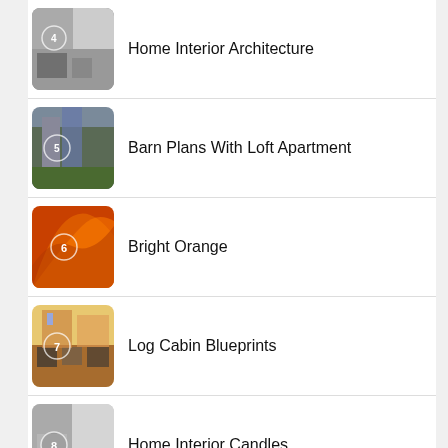4 - Home Interior Architecture
5 - Barn Plans With Loft Apartment
6 - Bright Orange
7 - Log Cabin Blueprints
8 - Home Interior Candles
9 - Dove Grey Kitchen Cabinets